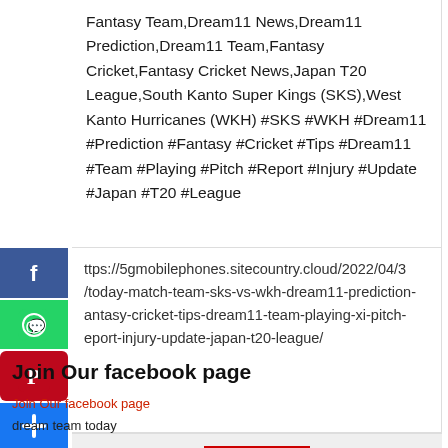Fantasy Team,Dream11 News,Dream11 Prediction,Dream11 Team,Fantasy Cricket,Fantasy Cricket News,Japan T20 League,South Kanto Super Kings (SKS),West Kanto Hurricanes (WKH) #SKS #WKH #Dream11 #Prediction #Fantasy #Cricket #Tips #Dream11 #Team #Playing #Pitch #Report #Injury #Update #Japan #T20 #League
ttps://5gmobilephones.sitecountry.cloud/2022/04/3/today-match-team-sks-vs-wkh-dream11-prediction-antasy-cricket-tips-dream11-team-playing-xi-pitch-eport-injury-update-japan-t20-league/
[Figure (other): Social media share buttons: Facebook, WhatsApp, Pinterest, Share (blue plus)]
[Figure (other): Close button: red rectangle with X CLOSE text]
Join Our facebook page
[Figure (other): Join Our facebook page image link]
dream team today